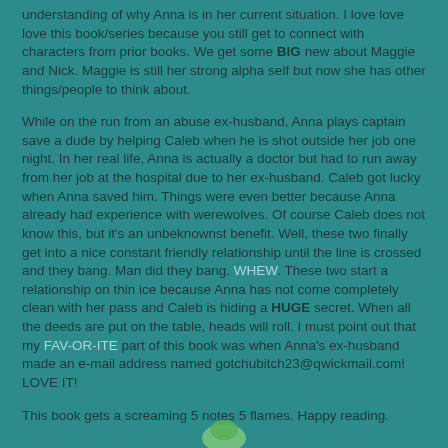understanding of why Anna is in her current situation. I love love love this book/series because you still get to connect with characters from prior books. We get some BIG new about Maggie and Nick. Maggie is still her strong alpha self but now she has other things/people to think about.
While on the run from an abuse ex-husband, Anna plays captain save a dude by helping Caleb when he is shot outside her job one night. In her real life, Anna is actually a doctor but had to run away from her job at the hospital due to her ex-husband. Caleb got lucky when Anna saved him. Things were even better because Anna already had experience with werewolves. Of course Caleb does not know this, but it's an unbeknownst benefit. Well, these two finally get into a nice constant friendly relationship until the line is crossed and they bang. Man did they bang. WHEW. These two start a relationship on thin ice because Anna has not come completely clean with her pass and Caleb is hiding a HUGE secret. When all the deeds are put on the table, heads will roll. I must point out that my FAV-OR-ITE part of this book was when Anna's ex-husband made an e-mail address named gotchubitch23@qwickmail.com! LOVE IT!
This book gets a screaming 5 notes 5 flames. Happy reading.